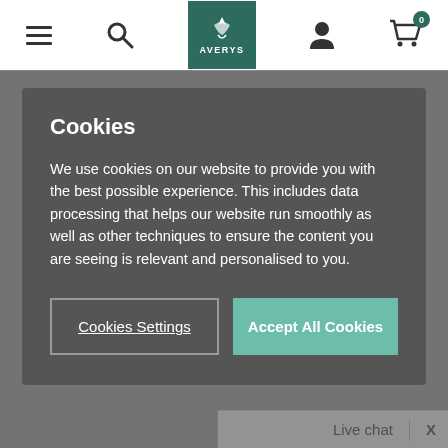[Figure (screenshot): Averys wine website navigation bar with hamburger menu, search icon, Averys logo, user icon, and shopping cart with badge showing 0]
Cookies
We use cookies on our website to provide you with the best possible experience. This includes data processing that helps our website run smoothly as well as other techniques to ensure the content you are seeing is relevant and personalised to you.
Cookies Settings
Accept All Cookies
Spain
Tempranillo-based blend
£27.00 a bottle
1
Add to basket
Live chat
X